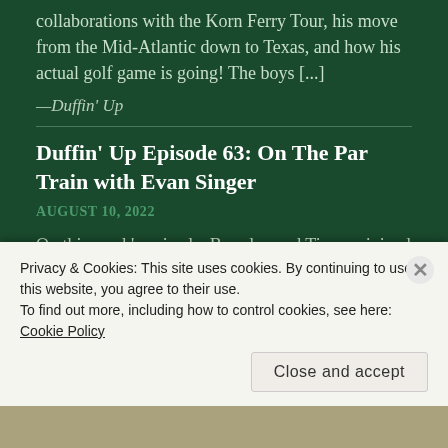collaborations with the Korn Ferry Tour, his move from the Mid-Atlantic down to Texas, and how his actual golf game is going! The boys [...]
—Duffin' Up
Duffin' Up Episode 63: On The Par Train with Evan Singer
AUGUST 10, 2022
On this week's episode, Brendan and Tim are joined by Evan Singer, founder and Co-Host of The Par Train (@thepartrain on Instagram) to talk about his role as the Zen Master of the golfing world. We discuss what happens when you try to be positive but are having a
Privacy & Cookies: This site uses cookies. By continuing to use this website, you agree to their use.
To find out more, including how to control cookies, see here: Cookie Policy
Close and accept